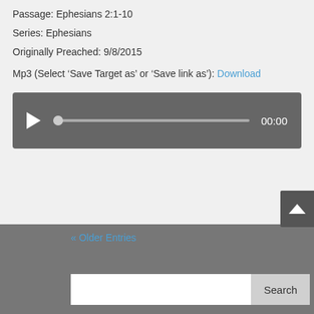Passage: Ephesians 2:1-10
Series: Ephesians
Originally Preached: 9/8/2015
Mp3 (Select ‘Save Target as’ or ‘Save link as’): Download
[Figure (other): Audio player widget with play button, progress bar with thumb at start, and time display showing 00:00]
« Older Entries
Search